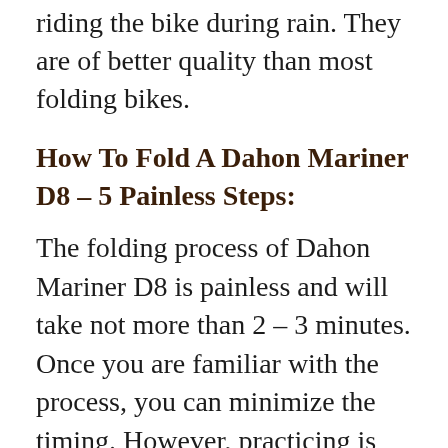riding the bike during rain. They are of better quality than most folding bikes.
How To Fold A Dahon Mariner D8 – 5 Painless Steps:
The folding process of Dahon Mariner D8 is painless and will take not more than 2 – 3 minutes. Once you are familiar with the process, you can minimize the timing. However, practicing is crucial. Follow the below 5 steps intently.
Step 01: Seat Post Lowering